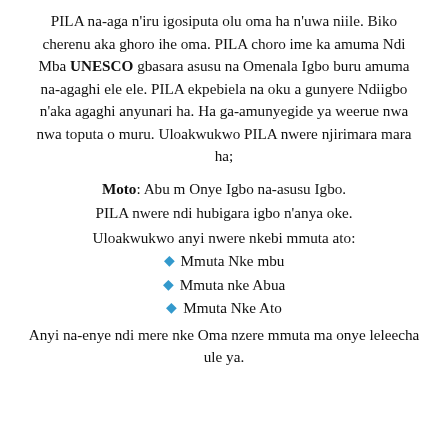PILA na-aga n'iru igosiputa olu oma ha n'uwa niile. Biko cherenu aka ghoro ihe oma. PILA choro ime ka amuma Ndi Mba UNESCO gbasara asusu na Omenala Igbo buru amuma na-agaghi ele ele. PILA ekpebiela na oku a gunyere Ndiigbo n'aka agaghi anyunari ha. Ha ga-amunyegide ya weerue nwa nwa toputa o muru. Uloakwukwo PILA nwere njirimara mara ha;
Moto: Abu m Onye Igbo na-asusu Igbo.
PILA nwere ndi hubigara igbo n'anya oke.
Uloakwukwo anyi nwere nkebi mmuta ato:
Mmuta Nke mbu
Mmuta nke Abua
Mmuta Nke Ato
Anyi na-enye ndi mere nke Oma nzere mmuta ma onye leleecha ule ya.